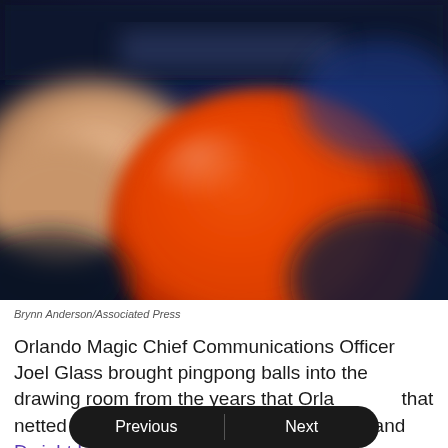[Figure (photo): Blurry close-up photo showing an orange basketball or similar spherical object against a dark navy/blue background, with a beige/skin-toned object on the left side. Photo is intentionally blurred/out of focus.]
Brynn Anderson/Associated Press
Orlando Magic Chief Communications Officer Joel Glass brought pingpong balls into the drawing room from the years that Orla[ndo won] that netted Shaquille O'Neal, Penny Hardaway and Dwight Howard,